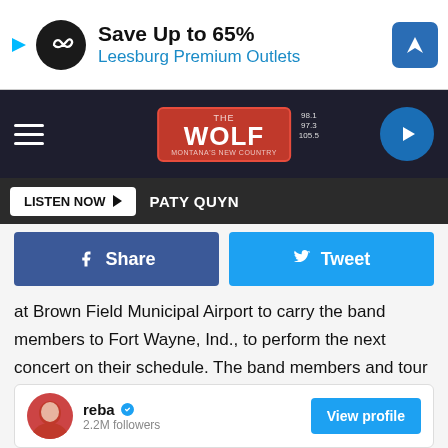[Figure (screenshot): Ad banner: Save Up to 65% Leesburg Premium Outlets]
[Figure (screenshot): Navigation bar with hamburger menu, The Wolf radio logo, and play button]
[Figure (screenshot): Listen Now button bar with PATY QUYN label]
[Figure (screenshot): Share and Tweet social buttons]
at Brown Field Municipal Airport to carry the band members to Fort Wayne, Ind., to perform the next concert on their schedule. The band members and tour manager flew on ahead while McEntire, her then-husband and manager Narvel Blackstock and her stylist, Sandi Spika, stayed overnight in San Diego.
[Figure (screenshot): Reba profile card: reba verified, 2.2M followers, View profile button]